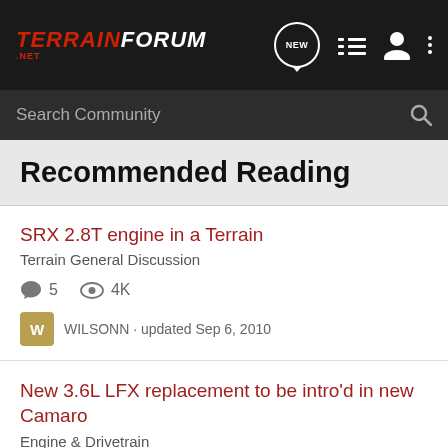TERRAIN FORUM .NET
Search Community
Recommended Reading
SRX 2.8T engine in a Terrain
Terrain General Discussion
5 comments · 4K views
WILSONN · updated Sep 6, 2010
New 3.6L LFX replacement to be intro'd in new Camaro
Engine & Drivetrain
17 comments · 14K views